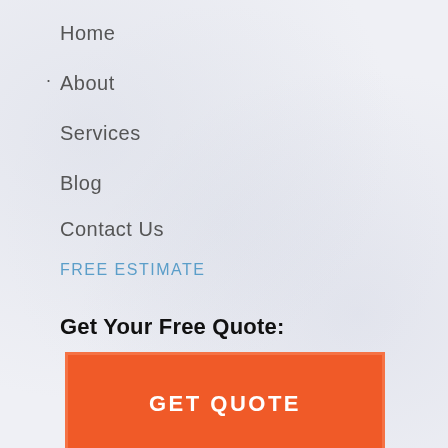Home
About
Services
Blog
Contact Us
FREE ESTIMATE
Get Your Free Quote:
GET QUOTE